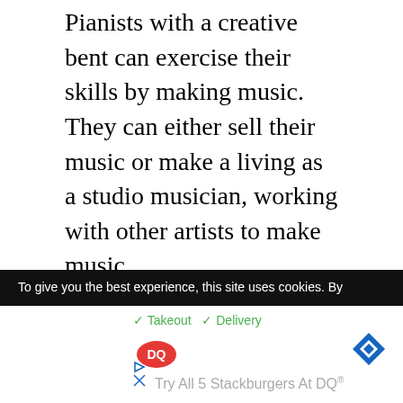Pianists with a creative bent can exercise their skills by making music. They can either sell their music or make a living as a studio musician, working with other artists to make music.
Youtuber
Many musicians show their skills by establishing their own Youtube channels and uploading their own compositions or covers.
To give you the best experience, this site uses cookies. By
[Figure (screenshot): Advertisement banner for Dairy Queen showing DQ logo, checkmarks for Takeout and Delivery options, navigation icon, and text 'Try All 5 Stackburgers At DQ']